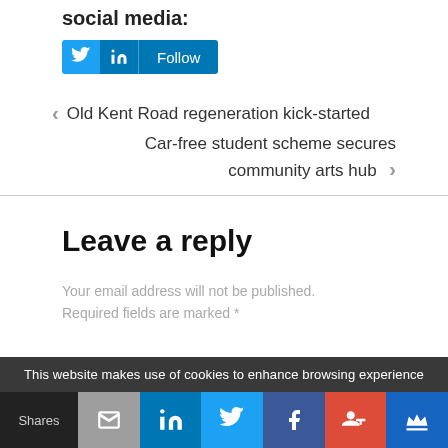social media:
[Figure (other): Social media follow buttons: Twitter, LinkedIn, Follow]
< Old Kent Road regeneration kick-started
Car-free student scheme secures community arts hub >
Leave a reply
Your email address will not be published. Required fields are marked *
This website makes use of cookies to enhance browsing experience
Shares | email | LinkedIn | Twitter | Facebook | Google+ | Crown